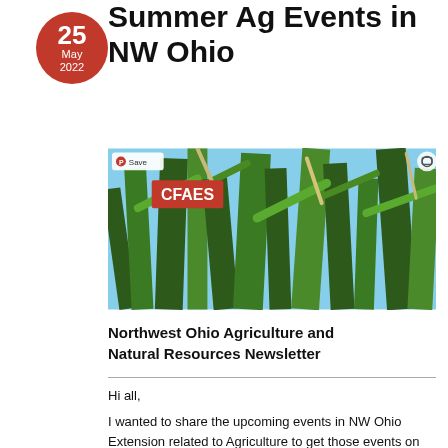Summer Ag Events in NW Ohio
[Figure (photo): Low-angle photo of corn stalks against a blue sky with a red CFAES label overlay and a Pinterest 'Save' button in the top-left corner.]
Northwest Ohio Agriculture and Natural Resources Newsletter
Hi all,
I wanted to share the upcoming events in NW Ohio Extension related to Agriculture to get those events on your calendar. Here is the link